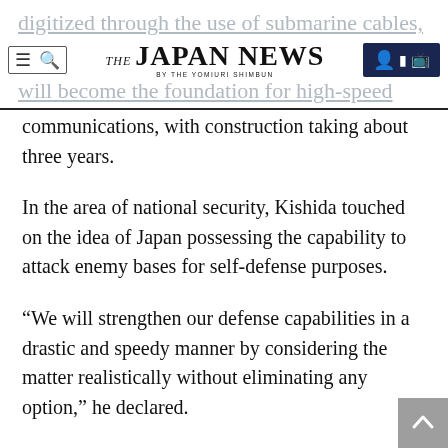THE JAPAN NEWS BY THE YOMIURI SHIMBUN
digitized through the use of submarine cables, will become the foundation for high-speed communications, with construction taking about three years.
In the area of national security, Kishida touched on the idea of Japan possessing the capability to attack enemy bases for self-defense purposes.
“We will strengthen our defense capabilities in a drastic and speedy manner by considering the matter realistically without eliminating any option,” he declared.
He said the government intends to formulate updated versions of the National Security Strategy, National Defense Program Guidelines and Medi—